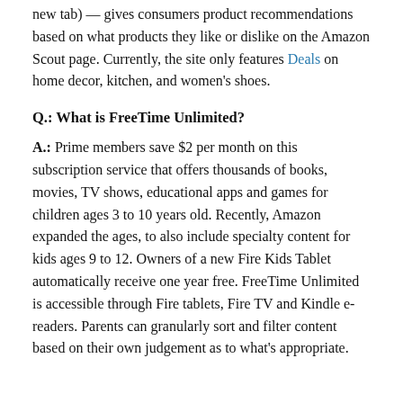new tab) — gives consumers product recommendations based on what products they like or dislike on the Amazon Scout page. Currently, the site only features Deals on home decor, kitchen, and women's shoes.
Q.: What is FreeTime Unlimited?
A.: Prime members save $2 per month on this subscription service that offers thousands of books, movies, TV shows, educational apps and games for children ages 3 to 10 years old. Recently, Amazon expanded the ages, to also include specialty content for kids ages 9 to 12. Owners of a new Fire Kids Tablet automatically receive one year free. FreeTime Unlimited is accessible through Fire tablets, Fire TV and Kindle e-readers. Parents can granularly sort and filter content based on their own judgement as to what's appropriate.